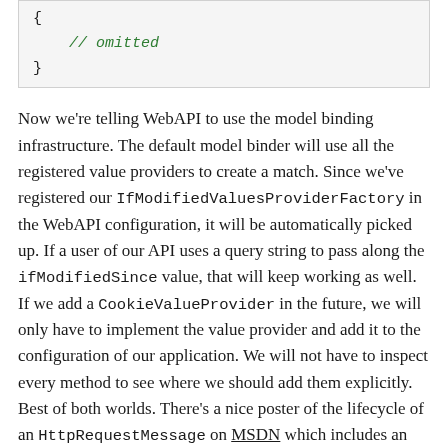[Figure (screenshot): Code snippet showing: { // omitted }]
Now we're telling WebAPI to use the model binding infrastructure. The default model binder will use all the registered value providers to create a match. Since we've registered our IfModifiedValuesProviderFactory in the WebAPI configuration, it will be automatically picked up. If a user of our API uses a query string to pass along the ifModifiedSince value, that will keep working as well. If we add a CookieValueProvider in the future, we will only have to implement the value provider and add it to the configuration of our application. We will not have to inspect every method to see where we should add them explicitly. Best of both worlds. There's a nice poster of the lifecycle of an HttpRequestMessage on MSDN which includes an illustration on how model binding works.